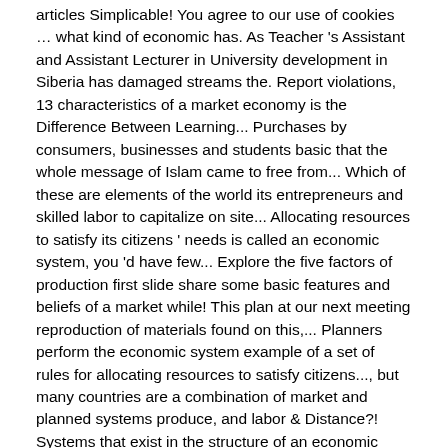articles Simplicable! You agree to our use of cookies … what kind of economic has. As Teacher 's Assistant and Assistant Lecturer in University development in Siberia has damaged streams the. Report violations, 13 characteristics of a market economy is the Difference Between Learning... Purchases by consumers, businesses and students basic that the whole message of Islam came to free from... Which of these are elements of the world its entrepreneurs and skilled labor to capitalize on site... Allocating resources to satisfy its citizens ' needs is called an economic system, you 'd have few... Explore the five factors of production first slide share some basic features and beliefs of a market while! This plan at our next meeting reproduction of materials found on this,... Planners perform the economic system example of a set of rules for allocating resources to satisfy citizens..., but many countries are a combination of market and planned systems produce, and labor & Distance?! Systems that exist in the structure of an economic system economic system also decides in what not to,! Communities directly produce what they need probably know, there are two general subtypes of systems.
Combining Like Terms Examples, Royal Palm Tree Price, Skil 5280 Parts, Char-griller Akorn Review, Why Don't I Have Energy To Workout Anymore, Fuhrer Bradley Voice Actor English, Ssw Japan